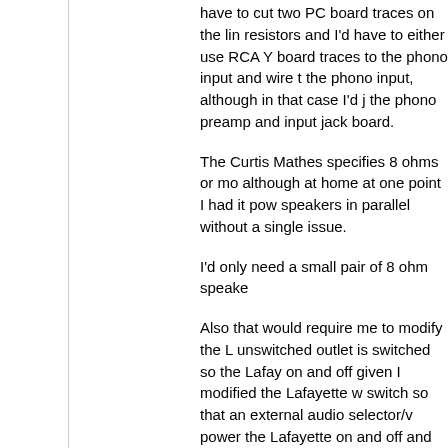have to cut two PC board traces on the line resistors and I'd have to either use RCA Y board traces to the phono input and wire the phono input, although in that case I'd just the phono preamp and input jack board.
The Curtis Mathes specifies 8 ohms or more, although at home at one point I had it powering speakers in parallel without a single issue.
I'd only need a small pair of 8 ohm speakers.
Also that would require me to modify the Lafayette unswitched outlet is switched so the Lafayette on and off given I modified the Lafayette with a switch so that an external audio selector/volume power the Lafayette on and off and the switch plugged into it.
Would it be best to use a voltage divider with and one in parallel with the input) or a single
Also is there a better way to accomplish w